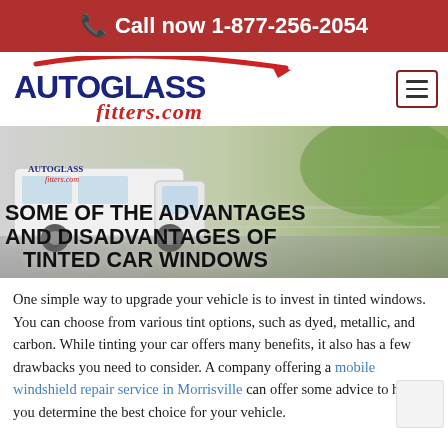Call now 1-877-256-2054
[Figure (logo): AutoGlassFitters.com logo with red swoosh graphic and navy bold text, hamburger menu icon top right]
[Figure (photo): AutoGlass Fitters white service van driving on road with blurred green background]
SOME OF THE ADVANTAGES AND DISADVANTAGES OF TINTED CAR WINDOWS
One simple way to upgrade your vehicle is to invest in tinted windows. You can choose from various tint options, such as dyed, metallic, and carbon. While tinting your car offers many benefits, it also has a few drawbacks you need to consider. A company offering a mobile windshield repair service in Morrisville can offer some advice to help you determine the best choice for your vehicle.